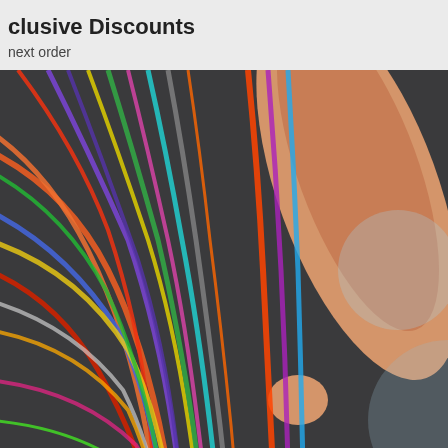LABOR10 for 10% Off
[Figure (screenshot): Shopping cart icon on website header]
[Figure (screenshot): Search bar with magnifying glass icon]
clusive Discounts
next order
[Figure (photo): Person's hand patching colorful cables in a modular synthesizer patch bay]
ss
[Figure (photo): Electronic module with three jack sockets - product thumbnail]
2 Heuristic Rhythm
No Thanks